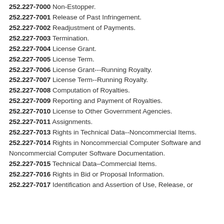252.227-7000 Non-Estopper.
252.227-7001 Release of Past Infringement.
252.227-7002 Readjustment of Payments.
252.227-7003 Termination.
252.227-7004 License Grant.
252.227-7005 License Term.
252.227-7006 License Grant---Running Royalty.
252.227-7007 License Term--Running Royalty.
252.227-7008 Computation of Royalties.
252.227-7009 Reporting and Payment of Royalties.
252.227-7010 License to Other Government Agencies.
252.227-7011 Assignments.
252.227-7013 Rights in Technical Data--Noncommercial Items.
252.227-7014 Rights in Noncommercial Computer Software and Noncommercial Computer Software Documentation.
252.227-7015 Technical Data–Commercial Items.
252.227-7016 Rights in Bid or Proposal Information.
252.227-7017 Identification and Assertion of Use, Release, or